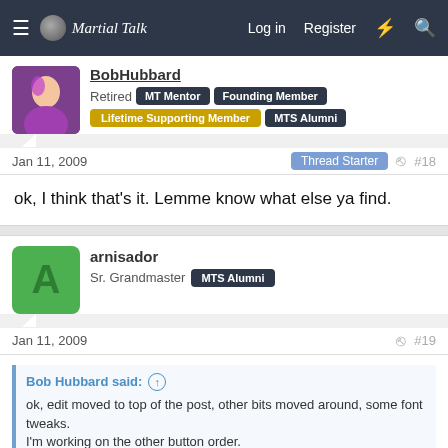Martial Talk — Log in | Register
Retired  MT Mentor  Founding Member  Lifetime Supporting Member  MTS Alumni
Jan 11, 2009   Thread Starter  #18
ok, I think that's it. Lemme know what else ya find.
arnisador
Sr. Grandmaster  MTS Alumni
Jan 11, 2009  #19
Bob Hubbard said: ↑
ok, edit moved to top of the post, other bits moved around, some font tweaks.
I'm working on the other button order.